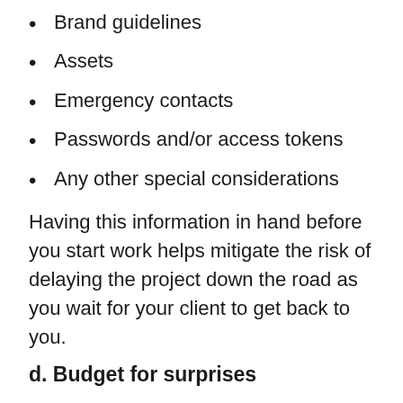Brand guidelines
Assets
Emergency contacts
Passwords and/or access tokens
Any other special considerations
Having this information in hand before you start work helps mitigate the risk of delaying the project down the road as you wait for your client to get back to you.
d. Budget for surprises
Finally, remember that nothing is certain. Add wiggle room to your budget for those